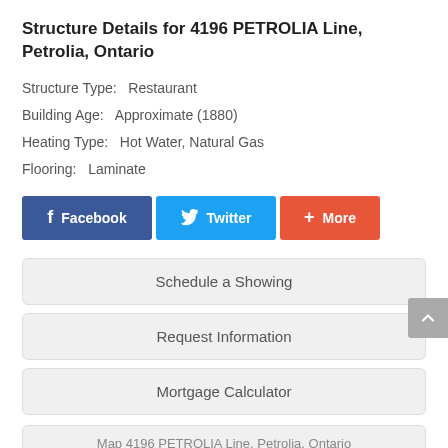Structure Details for 4196 PETROLIA Line, Petrolia, Ontario
Structure Type:   Restaurant
Building Age:   Approximate (1880)
Heating Type:   Hot Water, Natural Gas
Flooring:   Laminate
[Figure (other): Social sharing buttons: Facebook, Twitter, More]
Schedule a Showing
Request Information
Mortgage Calculator
Map 4196 PETROLIA Line, Petrolia, Ontario